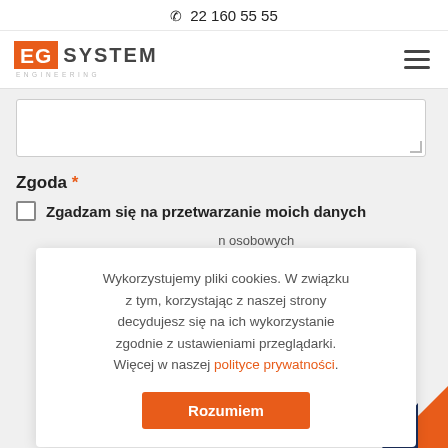22 160 55 55
[Figure (logo): EG System Engineering logo with orange background EG block and grey SYSTEM text]
[Figure (other): Hamburger menu icon (three horizontal lines)]
[Figure (other): Textarea form field (empty, with resize handle)]
Zgoda *
Zgadzam się na przetwarzanie moich danych
Wykorzystujemy pliki cookies. W związku z tym, korzystając z naszej strony decydujesz się na ich wykorzystanie zgodnie z ustawieniami przeglądarki. Więcej w naszej polityce prywatności.
Rozumiem